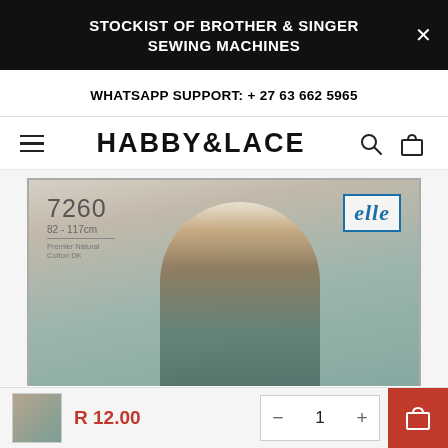STOCKIST OF BROTHER & SINGER SEWING MACHINES
WHATSAPP SUPPORT: + 27 63 662 5965
[Figure (logo): HABBY&LACE website logo with hamburger menu, search icon, and bag icon]
[Figure (photo): Knitting pattern product image showing a young woman wearing a brown knitted cardigan over a teal top, with pattern number 7260, size 82-117cm, Premier Natural Cotton DK, and Elle brand logo]
R 12.00
1